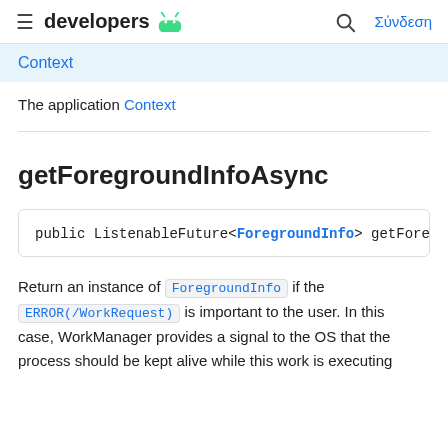≡ developers 🤖 🔍 Σύνδεση
Context
The application Context
getForegroundInfoAsync
public ListenableFuture<ForegroundInfo> getForeground
Return an instance of ForegroundInfo if the ERROR(/WorkRequest) is important to the user. In this case, WorkManager provides a signal to the OS that the process should be kept alive while this work is executing.